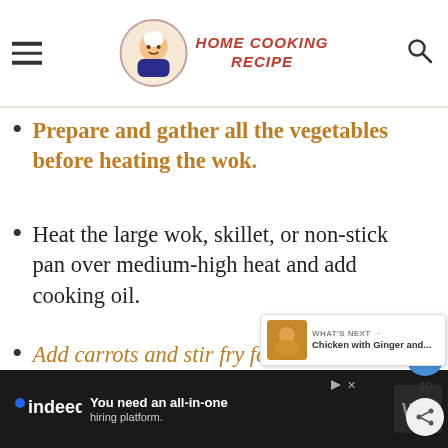HOME COOKING RECIPE
Prepare and gather all the vegetables before heating the wok.
Heat the large wok, skillet, or non-stick pan over medium-high heat and add cooking oil.
Add carrots and stir fry for a few seconds, followed by the onions and dry chillies.
40
WHAT'S NEXT → Chicken with Ginger and...
You need an all-in-one hiring platform.